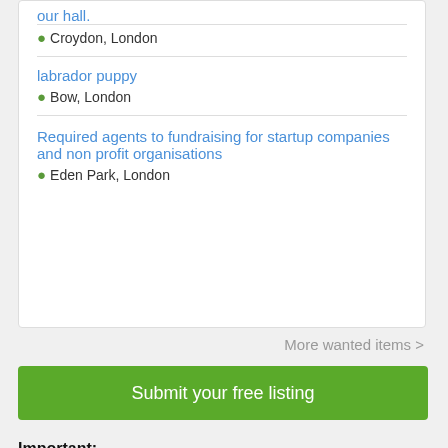our hall.
Croydon, London
labrador puppy
Bow, London
Required agents to fundraising for startup companies and non profit organisations
Eden Park, London
More wanted items >
Submit your free listing
Important:
Do not make any advance payment if you are unsure about the seller. You can ask seller to take payment on NomTimes ('Buy Now' listing) where your payment will be